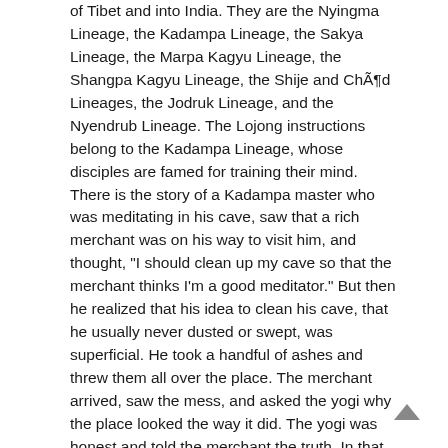of Tibet and into India. They are the Nyingma Lineage, the Kadampa Lineage, the Sakya Lineage, the Marpa Kagyu Lineage, the Shangpa Kagyu Lineage, the Shije and Chöd Lineages, the Jodruk Lineage, and the Nyendrub Lineage. The Lojong instructions belong to the Kadampa Lineage, whose disciples are famed for training their mind. There is the story of a Kadampa master who was meditating in his cave, saw that a rich merchant was on his way to visit him, and thought, "I should clean up my cave so that the merchant thinks I'm a good meditator." But then he realized that his idea to clean his cave, that he usually never dusted or swept, was superficial. He took a handful of ashes and threw them all over the place. The merchant arrived, saw the mess, and asked the yogi why the place looked the way it did. The yogi was honest and told the merchant the truth. In that moment, the merchant felt greater devotion for the yogi-master than he had before. The Lojong practices deal with training oneself. Feeling uncomfortable when someone is successful or prosperous means that one has something to work on.